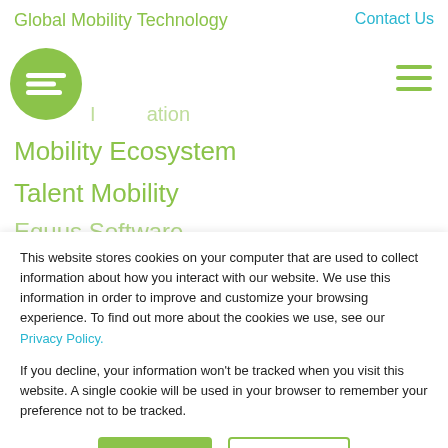Global Mobility Technology
Contact Us
[Figure (logo): Circular green logo with white horizontal lines]
[Figure (other): Hamburger menu icon with three green horizontal lines]
I...ation
Mobility Ecosystem
Talent Mobility
Equus Software
This website stores cookies on your computer that are used to collect information about how you interact with our website. We use this information in order to improve and customize your browsing experience. To find out more about the cookies we use, see our Privacy Policy.
If you decline, your information won’t be tracked when you visit this website. A single cookie will be used in your browser to remember your preference not to be tracked.
Accept
Decline